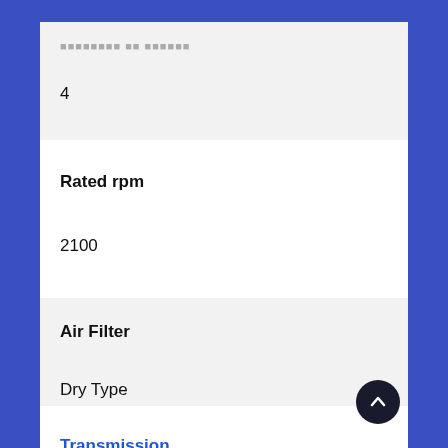Cylinders of Engine
4
Rated rpm
2100
Air Filter
Dry Type
Transmission